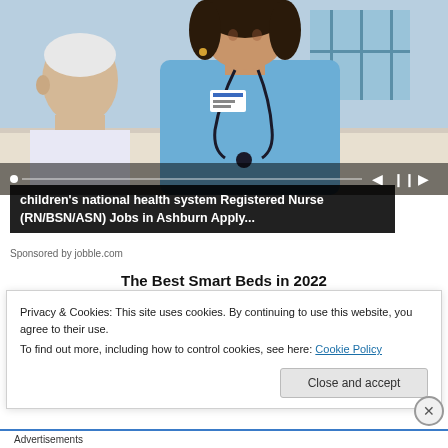[Figure (photo): Photo of a smiling nurse in blue scrubs with a stethoscope talking to an elderly patient. Video player controls visible at bottom of image.]
children's national health system Registered Nurse (RN/BSN/ASN) Jobs in Ashburn Apply...
Sponsored by jobble.com
The Best Smart Beds in 2022
Privacy & Cookies: This site uses cookies. By continuing to use this website, you agree to their use.
To find out more, including how to control cookies, see here: Cookie Policy
Close and accept
Advertisements